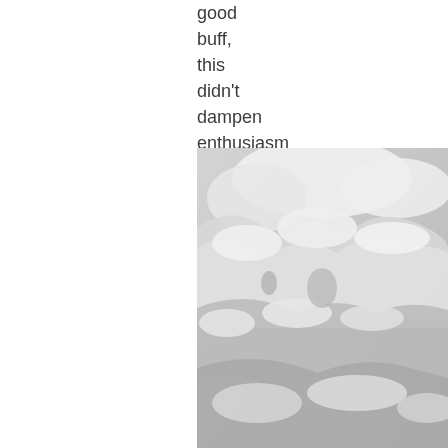good
buff,
this
didn't
dampen
enthusiasm
for
skiing.
[Figure (photo): Black and white photograph of snow-covered conifer trees on a slope, heavily laden with snow, taken from above looking down.]